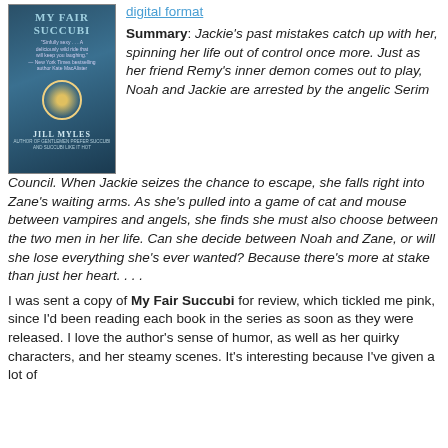[Figure (illustration): Book cover for 'My Fair Succubi' by Jill Myles, showing a shirtless man holding a glowing ring, on a dark background. Quotes from New York Times bestselling author Kate MacAlister are shown.]
digital format
Summary: Jackie's past mistakes catch up with her, spinning her life out of control once more. Just as her friend Remy's inner demon comes out to play, Noah and Jackie are arrested by the angelic Serim Council. When Jackie seizes the chance to escape, she falls right into Zane's waiting arms. As she's pulled into a game of cat and mouse between vampires and angels, she finds she must also choose between the two men in her life. Can she decide between Noah and Zane, or will she lose everything she's ever wanted? Because there's more at stake than just her heart. . . .
I was sent a copy of My Fair Succubi for review, which tickled me pink, since I'd been reading each book in the series as soon as they were released. I love the author's sense of humor, as well as her quirky characters, and her steamy scenes. It's interesting because I've given a lot of